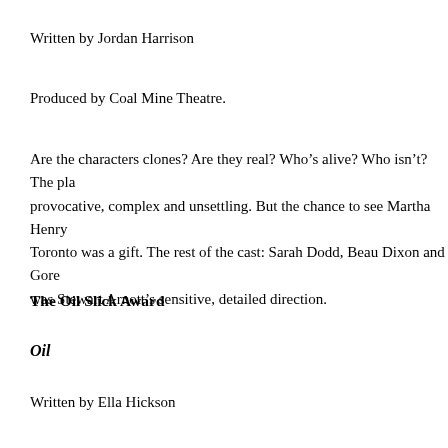Written by Jordan Harrison
Produced by Coal Mine Theatre.
Are the characters clones? Are they real? Who's alive? Who isn't? The pla provocative, complex and unsettling. But the chance to see Martha Henry Toronto was a gift. The rest of the cast: Sarah Dodd, Beau Dixon and Gore was Stewart Arnott's sensitive, detailed direction.
The Oil Slick Award
Oil
Written by Ella Hickson
Produced by ARC
Ella Hickson has written a play about the lure, dangers and pervading pres Co-directors Aviva Armour-Ostroff and Christopher Stanton created a wor and accentuated class and position.  Designer Jackie Chau's design was so